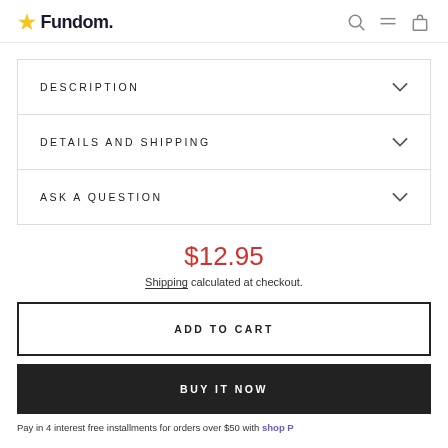Fundom.
DESCRIPTION
DETAILS AND SHIPPING
ASK A QUESTION
$12.95
Shipping calculated at checkout.
ADD TO CART
BUY IT NOW
Pay in 4 interest free installments for orders over $50 with shop